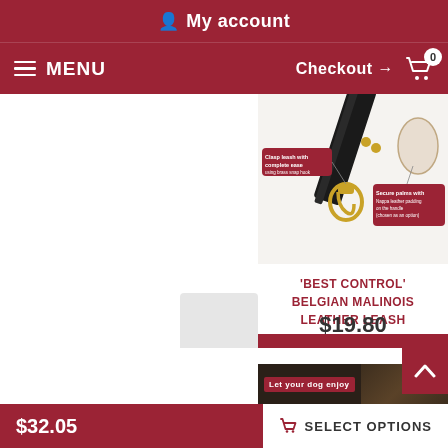My account
MENU   Checkout → 0
[Figure (photo): Close-up photo of a black leather dog leash with gold clasp hardware, showing product feature callouts: 'Clasp leash with complete ease using brass snap hook' and 'Secure palms with Nappa leather padding on the handle (chosen as an option)']
'BEST CONTROL' BELGIAN MALINOIS LEATHER LEASH
$19.80
VIEW PRODUCT
[Figure (photo): Partial view of another product image at bottom, with text 'Let your dog enjoy']
$32.05
SELECT OPTIONS